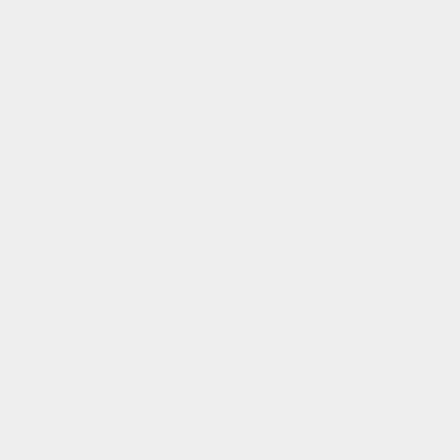qt-sql-mysql" parameter out (on the configure call).
– }}
– {{Notice|message=
The [http://msdn.microsoft.com/en-us/library/xbf3tbeh%28v=vs.80%29.aspx -ltcg] and [http://msdn.microsoft.com/en-us/library/xbf3tbeh%28v=vs.80%29.aspx -ltcg]